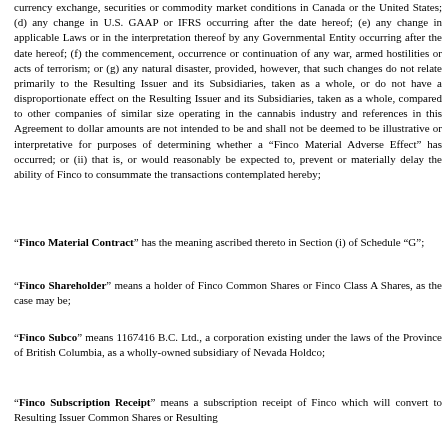currency exchange, securities or commodity market conditions in Canada or the United States; (d) any change in U.S. GAAP or IFRS occurring after the date hereof; (e) any change in applicable Laws or in the interpretation thereof by any Governmental Entity occurring after the date hereof; (f) the commencement, occurrence or continuation of any war, armed hostilities or acts of terrorism; or (g) any natural disaster, provided, however, that such changes do not relate primarily to the Resulting Issuer and its Subsidiaries, taken as a whole, or do not have a disproportionate effect on the Resulting Issuer and its Subsidiaries, taken as a whole, compared to other companies of similar size operating in the cannabis industry and references in this Agreement to dollar amounts are not intended to be and shall not be deemed to be illustrative or interpretative for purposes of determining whether a "Finco Material Adverse Effect" has occurred; or (ii) that is, or would reasonably be expected to, prevent or materially delay the ability of Finco to consummate the transactions contemplated hereby;
"Finco Material Contract" has the meaning ascribed thereto in Section (i) of Schedule "G";
"Finco Shareholder" means a holder of Finco Common Shares or Finco Class A Shares, as the case may be;
"Finco Subco" means 1167416 B.C. Ltd., a corporation existing under the laws of the Province of British Columbia, as a wholly-owned subsidiary of Nevada Holdco;
"Finco Subscription Receipt" means a subscription receipt of Finco which will convert to Resulting Issuer Common Shares or Resulting